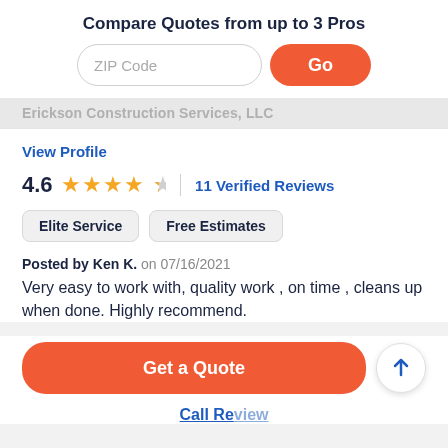Compare Quotes from up to 3 Pros
ZIP Code
Go
Erickson Construction Services, LLC
View Profile
4.6  ★★★★½  |  11 Verified Reviews
Elite Service
Free Estimates
Posted by Ken K. on 07/16/2021
Very easy to work with, quality work , on time , cleans up when done. Highly recommend.
Get a Quote